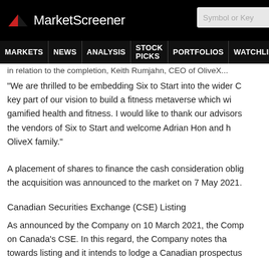MarketScreener
MARKETS NEWS ANALYSIS STOCK PICKS PORTFOLIOS WATCHLI...
in relation to the completion, Keith Rumjahn, CEO of OliveX...
"We are thrilled to be embedding Six to Start into the wider C... key part of our vision to build a fitness metaverse which wi... gamified health and fitness. I would like to thank our advisors... the vendors of Six to Start and welcome Adrian Hon and h... OliveX family."
A placement of shares to finance the cash consideration oblig... the acquisition was announced to the market on 7 May 2021.
Canadian Securities Exchange (CSE) Listing
As announced by the Company on 10 March 2021, the Comp... on Canada's CSE. In this regard, the Company notes tha... towards listing and it intends to lodge a Canadian prospectus...